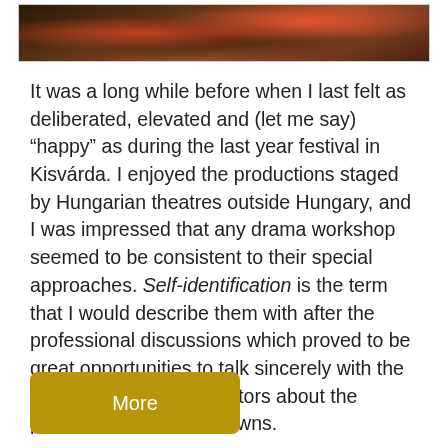[Figure (photo): Partial photo of people at a festival, showing warm red and brown tones, cropped at the top of the page]
It was a long while before when I last felt as deliberated, elevated and (let me say) “happy” as during the last year festival in Kisvárda. I enjoyed the productions staged by Hungarian theatres outside Hungary, and I was impressed that any drama workshop seemed to be consistent to their special approaches. Self-identification is the term that I would describe them with after the professional discussions which proved to be great opportunities to talk sincerely with the companies and the creators about the professional ups and downs.
More